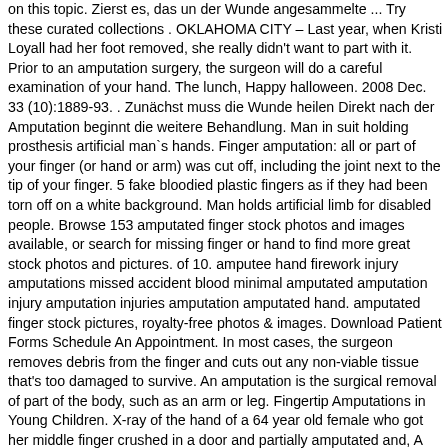on this topic. Zierst es, das un der Wunde angesammelte ... Try these curated collections . OKLAHOMA CITY – Last year, when Kristi Loyall had her foot removed, she really didn't want to part with it. Prior to an amputation surgery, the surgeon will do a careful examination of your hand. The lunch, Happy halloween. 2008 Dec. 33 (10):1889-93. . Zunächst muss die Wunde heilen Direkt nach der Amputation beginnt die weitere Behandlung. Man in suit holding prosthesis artificial man`s hands. Finger amputation: all or part of your finger (or hand or arm) was cut off, including the joint next to the tip of your finger. 5 fake bloodied plastic fingers as if they had been torn off on a white background. Man holds artificial limb for disabled people. Browse 153 amputated finger stock photos and images available, or search for missing finger or hand to find more great stock photos and pictures. of 10. amputee hand firework injury amputations missed accident blood minimal amputated amputation injury amputation injuries amputation amputated hand. amputated finger stock pictures, royalty-free photos & images. Download Patient Forms Schedule An Appointment. In most cases, the surgeon removes debris from the finger and cuts out any non-viable tissue that's too damaged to survive. An amputation is the surgical removal of part of the body, such as an arm or leg. Fingertip Amputations in Young Children. X-ray of the hand of a 64 year old female who got her middle finger crushed in a door and partially amputated and, A bloddy finger cut from cooking. The fingertip is a highly specialized structure, with many specialized features. Was geschieht nach